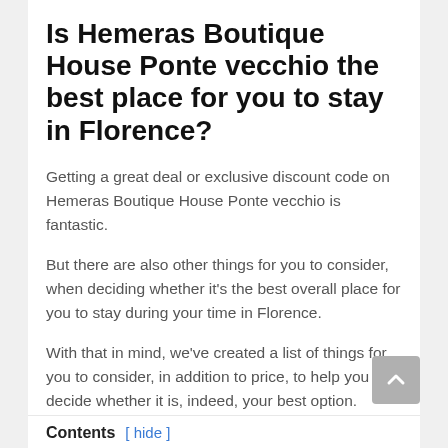Is Hemeras Boutique House Ponte vecchio the best place for you to stay in Florence?
Getting a great deal or exclusive discount code on Hemeras Boutique House Ponte vecchio is fantastic.
But there are also other things for you to consider, when deciding whether it’s the best overall place for you to stay during your time in Florence.
With that in mind, we’ve created a list of things for you to consider, in addition to price, to help you decide whether it is, indeed, your best option.
You can simply skim the topics and questions down below, or click on any one you’d like to learn more about.
Contents [ hide ]